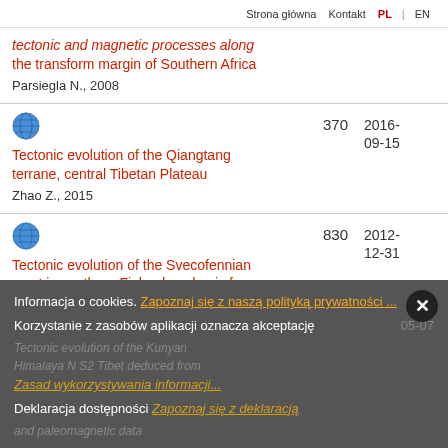Strona główna  Kontakt  PL | EN
Tectonic and magnetic processes along the transform margin of Southern Africa
Parsiegla N., 2008
370  2016-09-15
Tectonic evolution of the Qiangtang terrane, central Tibetan Plateau
Zhao Z., 2015
830  2012-12-31
Tectonic evolution of the Svecofennian crust in southern Finland – a basis for characterizing bedrock technical properties
Pajunen M.(ed.), 2008
Informacja o cookies. Zapoznaj się z naszą polityką prywatności ...
Korzystanie z zasobów aplikacji oznacza akceptację  05-07
Tectonic evolution of the Kunyan
Himalaya N S2 Tibet deduced from
Zasad wykorzystywania informacji...
Deklaracja dostępności Zapoznaj się z deklaracją
and paleomagnetic data